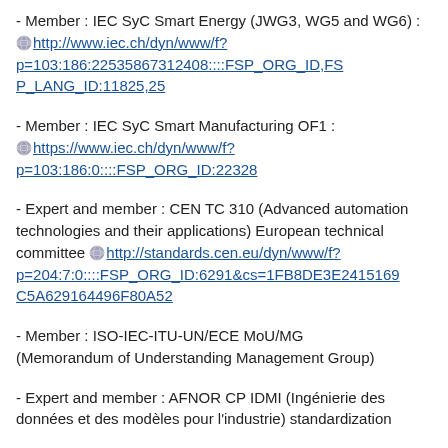- Member : IEC SyC Smart Energy (JWG3, WG5 and WG6) : http://www.iec.ch/dyn/www/f?p=103:186:22535867312408::::FSP_ORG_ID,FSP_LANG_ID:11825,25
- Member : IEC SyC Smart Manufacturing OF1 : https://www.iec.ch/dyn/www/f?p=103:186:0::::FSP_ORG_ID:22328
- Expert and member : CEN TC 310 (Advanced automation technologies and their applications) European technical committee http://standards.cen.eu/dyn/www/f?p=204:7:0::::FSP_ORG_ID:6291&cs=1FB8DE3E2415169C5A629164496F80A52
- Member : ISO-IEC-ITU-UN/ECE MoU/MG (Memorandum of Understanding Management Group)
- Expert and member : AFNOR CP IDMI (Ingénierie des données et des modèles pour l'industrie) standardization